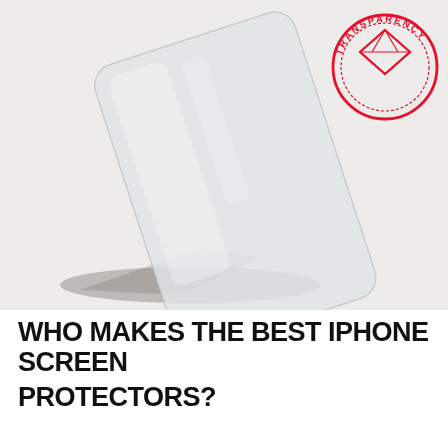[Figure (photo): A tempered glass iPhone screen protector leaning at an angle on a light grey/white surface, with a red circular badge in the top right corner reading 'TRANSPARENCY' around a diamond icon.]
WHO MAKES THE BEST iPHONE SCREEN PROTECTORS?